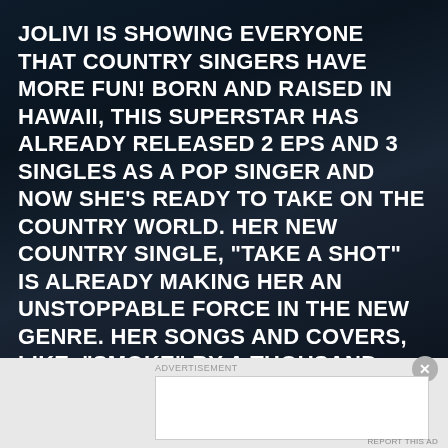JOLIVI IS SHOWING EVERYONE THAT COUNTRY SINGERS HAVE MORE FUN! BORN AND RAISED IN HAWAII, THIS SUPERSTAR HAS ALREADY RELEASED 2 EPS AND 3 SINGLES AS A POP SINGER AND NOW SHE'S READY TO TAKE ON THE COUNTRY WORLD. HER NEW COUNTRY SINGLE, “TAKE A SHOT” IS ALREADY MAKING HER AN UNSTOPPABLE FORCE IN THE NEW GENRE. HER SONGS AND COVERS, LIKE “SMOKE” BY A THOUSAND HORSES AND “BEFORE HE CHEATS” BY CARRIE UNDERWOOD, HAVE GAINED HER AN AUDIENCE AND OVER 1 MILLION YOUTUBE VIEWS. HERE, WE TALK ABOUT HER COVERS, TRANSITION FROM POP TO
[Figure (other): Advertisement banner at bottom of page with close button (X circle icon) and ad label text]